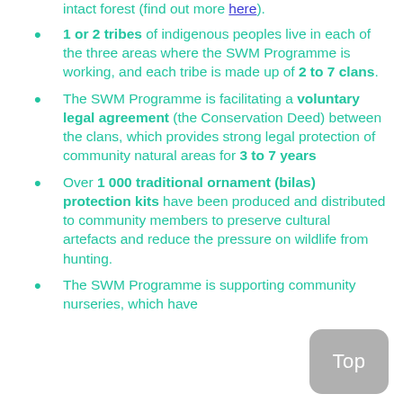intact forest (find out more here).
1 or 2 tribes of indigenous peoples live in each of the three areas where the SWM Programme is working, and each tribe is made up of 2 to 7 clans.
The SWM Programme is facilitating a voluntary legal agreement (the Conservation Deed) between the clans, which provides strong legal protection of community natural areas for 3 to 7 years
Over 1 000 traditional ornament (bilas) protection kits have been produced and distributed to community members to preserve cultural artefacts and reduce the pressure on wildlife from hunting.
The SWM Programme is supporting community nurseries, which have